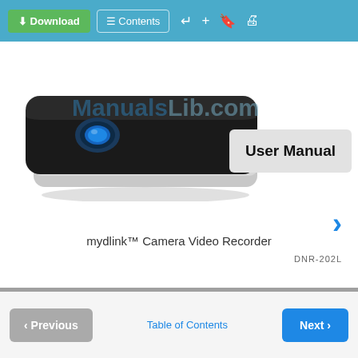[Figure (screenshot): Web page toolbar with Download (green), Contents buttons and navigation icons on blue background]
[Figure (photo): mydlink Camera Video Recorder device (DNR-202L) - a black rectangular device with blue indicator light and silver base, with ManualsLib.com watermark overlay]
User Manual
mydlink™ Camera Video Recorder
DNR-202L
Previous   Table of Contents   Next   1  2  3  4  5